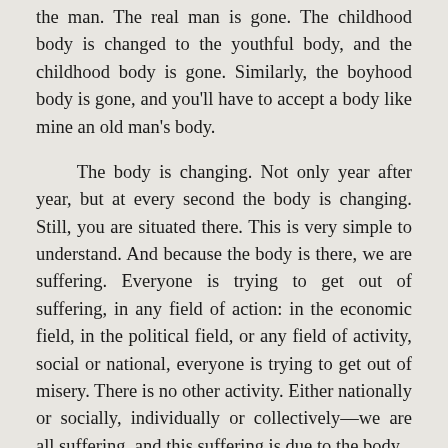the man. The real man is gone. The childhood body is changed to the youthful body, and the childhood body is gone. Similarly, the boyhood body is gone, and you'll have to accept a body like mine an old man's body.
The body is changing. Not only year after year, but at every second the body is changing. Still, you are situated there. This is very simple to understand. And because the body is there, we are suffering. Everyone is trying to get out of suffering, in any field of action: in the economic field, in the political field, or any field of activity, social or national, everyone is trying to get out of misery. There is no other activity. Either nationally or socially, individually or collectively—we are all suffering, and this suffering is due to the body.
Yoga means to enquire, What am I? If I am not this body, then what am I? I am pure soul. Now, if my